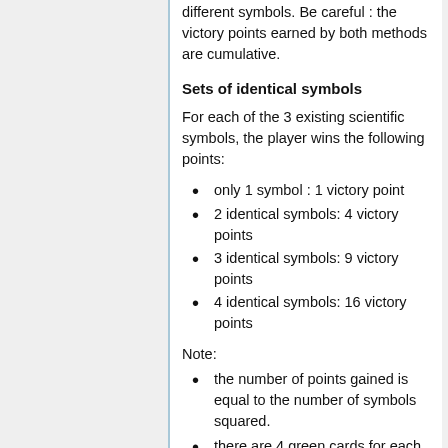different symbols. Be careful : the victory points earned by both methods are cumulative.
Sets of identical symbols
For each of the 3 existing scientific symbols, the player wins the following points:
only 1 symbol : 1 victory point
2 identical symbols: 4 victory points
3 identical symbols: 9 victory points
4 identical symbols: 16 victory points
Note:
the number of points gained is equal to the number of symbols squared.
there are 4 green cards for each symbol, for a maximum of 16 victory points per family of symbols.
this maximum can be increased with